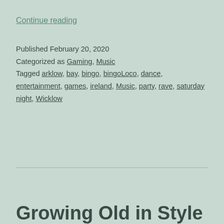Continue reading
Published February 20, 2020
Categorized as Gaming, Music
Tagged arklow, bay, bingo, bingoLoco, dance, entertainment, games, ireland, Music, party, rave, saturday night, Wicklow
Growing Old in Style